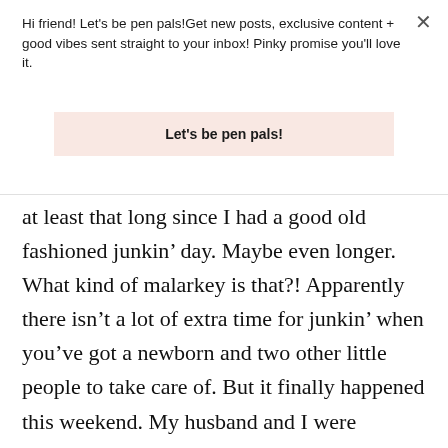Hi friend! Let's be pen pals!Get new posts, exclusive content + good vibes sent straight to your inbox! Pinky promise you'll love it.
Let's be pen pals!
at least that long since I had a good old fashioned junkin' day. Maybe even longer. What kind of malarkey is that?! Apparently there isn't a lot of extra time for junkin' when you've got a newborn and two other little people to take care of. But it finally happened this weekend. My husband and I were actually celebrating our anniversary (11 years–yay us!) and the older kiddos were at their grandparents for a visit, so we headed out with the